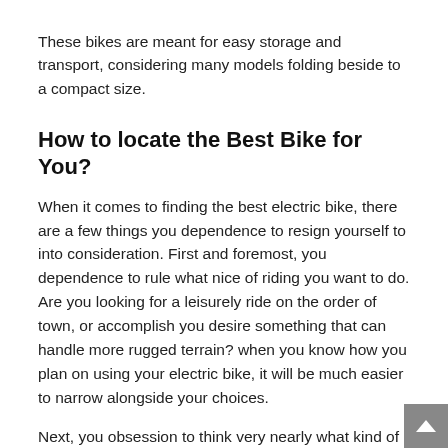These bikes are meant for easy storage and transport, considering many models folding beside to a compact size.
How to locate the Best Bike for You?
When it comes to finding the best electric bike, there are a few things you dependence to resign yourself to into consideration. First and foremost, you dependence to rule what nice of riding you want to do. Are you looking for a leisurely ride on the order of town, or accomplish you desire something that can handle more rugged terrain? when you know how you plan on using your electric bike, it will be much easier to narrow alongside your choices.
Next, you obsession to think very nearly what kind of